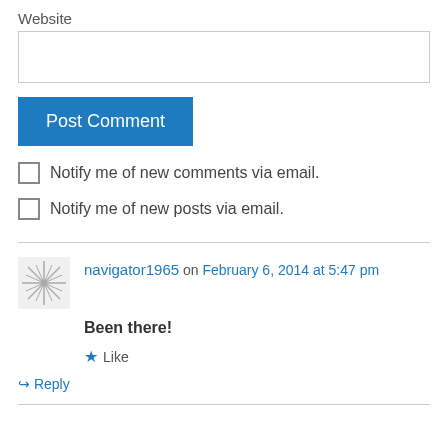Website
Post Comment
Notify me of new comments via email.
Notify me of new posts via email.
navigator1965 on February 6, 2014 at 5:47 pm
Been there!
Like
Reply